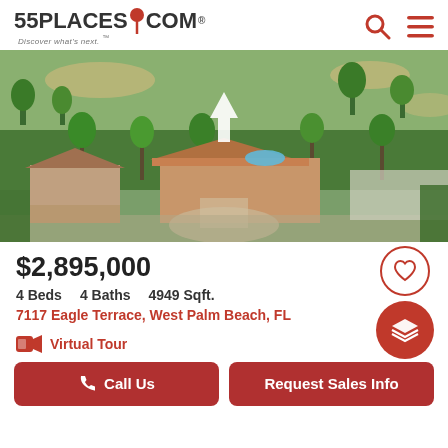55PLACES.COM — Discover what's next.
[Figure (photo): Aerial view of a luxury single-family home with terracotta roof, pool, and surrounding golf course. A white arrow points down toward the property. Lush tropical landscaping visible.]
$2,895,000
4 Beds   4 Baths   4949 Sqft.
7117 Eagle Terrace, West Palm Beach, FL
Virtual Tour
Call Us
Request Sales Info